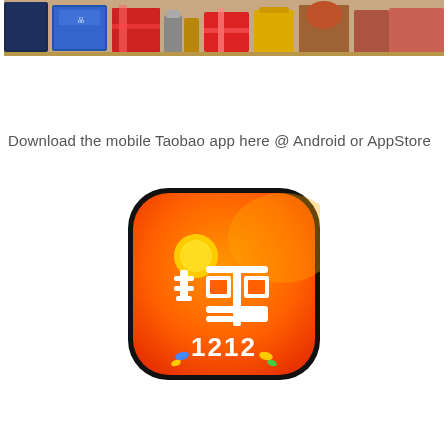[Figure (photo): A photo showing various gift boxes, bags, and products arranged on a table surface. Items include dark gift bags, blue packaged boxes, red-wrapped gifts, colorful bottles, and decorative figurines.]
Download the mobile Taobao app here @ Android or AppStore
[Figure (logo): Taobao app icon — a rounded square with orange-to-red gradient background featuring a white Chinese character '淘' (tao) with a yellow sun/circle in the upper left, and text '1212' at the bottom with small colored dot decorations, indicating a 12.12 shopping festival promotion.]